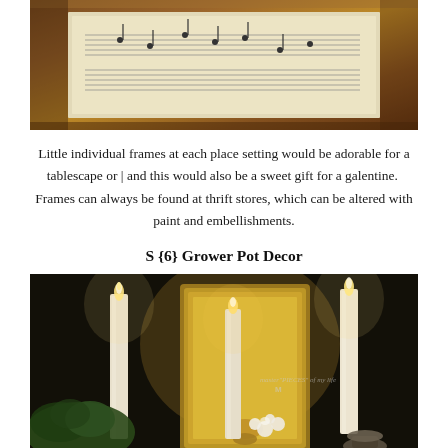[Figure (photo): Close-up photo of a framed picture with a wooden brown frame, showing what appears to be sheet music or decorative paper inside, set against a light background.]
Little individual frames at each place setting would be adorable for a tablescape or | and this would also be a sweet gift for a galentine.  Frames can always be found at thrift stores, which can be altered with paint and embellishments.
S {6} Grower Pot Decor
[Figure (photo): Photo of tall white taper candles lit with flames, set among gold ornate frames, white flowers, and greenery on a table. A watermark reads 'master PIECES of my life M'.]